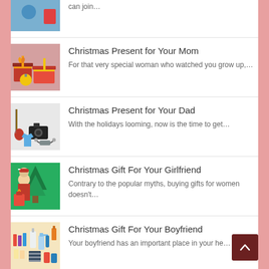can join…
Christmas Present for Your Mom
For that very special woman who watched you grow up,…
Christmas Present for Your Dad
With the holidays looming, now is the time to get…
Christmas Gift For Your Girlfriend
Contrary to the popular myths, buying gifts for women doesn't…
Christmas Gift For Your Boyfriend
Your boyfriend has an important place in your he… and…